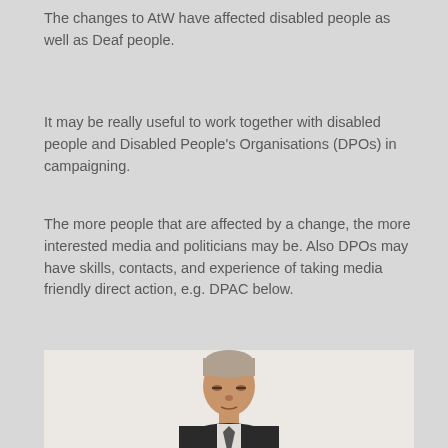The changes to AtW have affected disabled people as well as Deaf people.
It may be really useful to work together with disabled people and Disabled People's Organisations (DPOs) in campaigning.
The more people that are affected by a change, the more interested media and politicians may be.  Also DPOs may have skills, contacts, and experience of taking media friendly direct action, e.g. DPAC below.
Campaign with Disabled People's Organisations - BSL
[Figure (photo): A man with greying hair wearing a dark suit, photographed from the shoulders up, appearing to be presenting or speaking in sign language (BSL).]